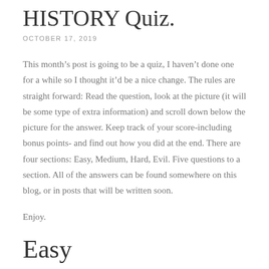HISTORY Quiz.
OCTOBER 17, 2019
This month's post is going to be a quiz, I haven't done one for a while so I thought it'd be a nice change. The rules are straight forward: Read the question, look at the picture (it will be some type of extra information) and scroll down below the picture for the answer. Keep track of your score-including bonus points- and find out how you did at the end. There are four sections: Easy, Medium, Hard, Evil. Five questions to a section. All of the answers can be found somewhere on this blog, or in posts that will be written soon.
Enjoy.
Easy